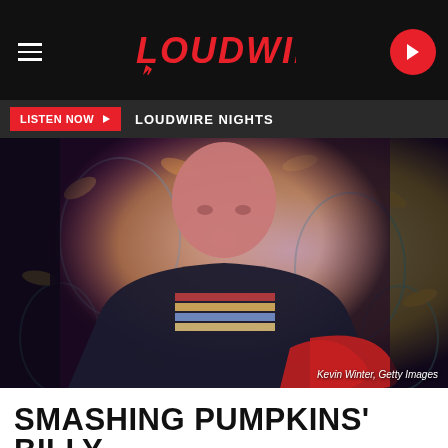LOUDWIRE
LISTEN NOW  LOUDWIRE NIGHTS
[Figure (photo): Bald guitarist performing on stage wearing a black t-shirt with graphic print, playing a red guitar, with colorful psychedelic background of yellow banana shapes and teal designs. Photo credit: Kevin Winter, Getty Images]
Kevin Winter, Getty Images
SMASHING PUMPKINS' BILLY